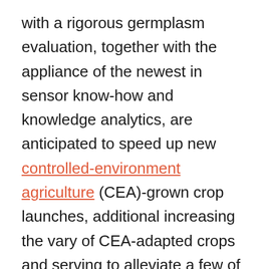with a rigorous germplasm evaluation, together with the appliance of the newest in sensor know-how and knowledge analytics, are anticipated to speed up new controlled-environment agriculture (CEA)-grown crop launches, additional increasing the vary of CEA-adapted crops and serving to alleviate a few of the main provide chain challenges confronted by subject grown produce. The partnership can be anticipated to develop the main focus of the CEA big from larger productiveness and longer shelf life to delivering more healthy and extra nutritious contemporary produce to the lots.